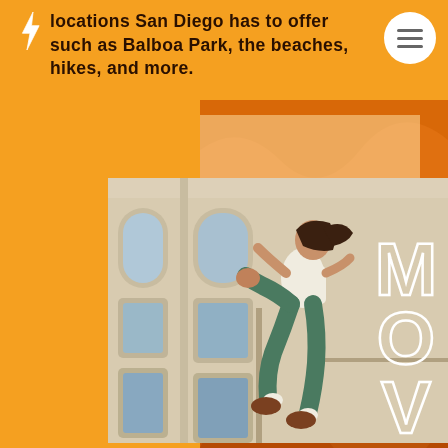locations San Diego has to offer such as Balboa Park, the beaches, hikes, and more.
[Figure (photo): A woman jumping athletically in front of a white building in an urban outdoor setting, wearing a white crop top and teal/green leggings with brown sneakers. Background shows arched windows of a large building.]
MOVE